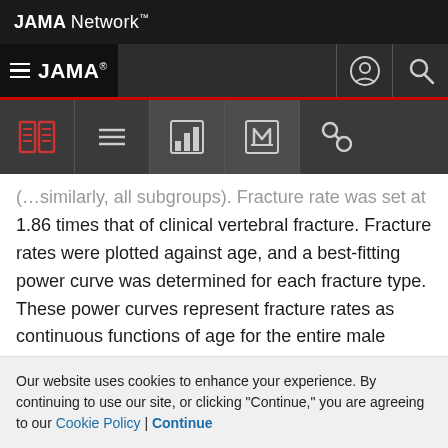JAMA Network
JAMA
(…similarly, all subgroups). Fracture rate was set at 1.86 times that of clinical vertebral fracture. Fracture rates were plotted against age, and a best-fitting power curve was determined for each fracture type. These power curves represent fracture rates as continuous functions of age for the entire male population of Olmsted County (90% of which is white), including those with or without osteoporosis and/or prior fracture. Because fracture reduction from bisphosphonates was modeled from direct
Our website uses cookies to enhance your experience. By continuing to use our site, or clicking "Continue," you are agreeing to our Cookie Policy | Continue